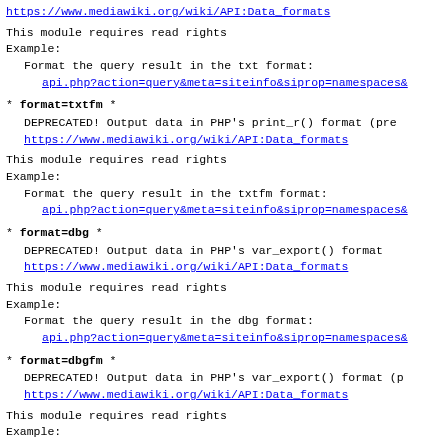https://www.mediawiki.org/wiki/API:Data_formats
This module requires read rights
Example:
  Format the query result in the txt format:
    api.php?action=query&meta=siteinfo&siprop=namespaces&
* format=txtfm *
  DEPRECATED! Output data in PHP's print_r() format (pre...
  https://www.mediawiki.org/wiki/API:Data_formats
This module requires read rights
Example:
  Format the query result in the txtfm format:
    api.php?action=query&meta=siteinfo&siprop=namespaces&
* format=dbg *
  DEPRECATED! Output data in PHP's var_export() format
  https://www.mediawiki.org/wiki/API:Data_formats
This module requires read rights
Example:
  Format the query result in the dbg format:
    api.php?action=query&meta=siteinfo&siprop=namespaces&
* format=dbgfm *
  DEPRECATED! Output data in PHP's var_export() format (p...
  https://www.mediawiki.org/wiki/API:Data_formats
This module requires read rights
Example: